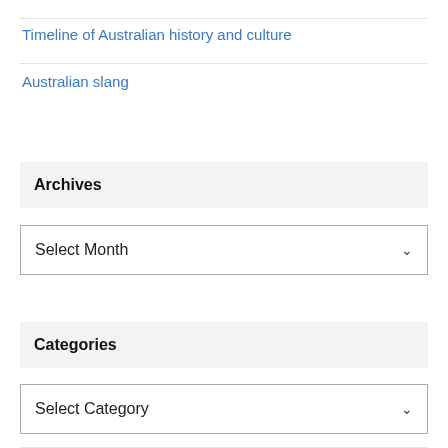Timeline of Australian history and culture
Australian slang
Archives
Select Month
Categories
Select Category